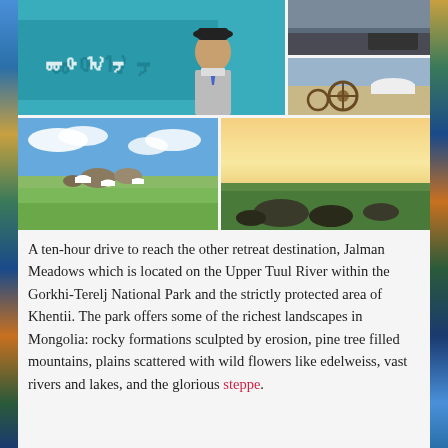[Figure (photo): Photo collage of Mongolia: top-left shows a train conductor/worker in uniform beside a teal-colored train with Mongolian script; top-right upper shows a dark landscape with animals; top-right lower shows a yurt (ger) in a brown steppe landscape with a wooden cart; bottom-left shows green meadows with yurts under blue sky; bottom-right shows a sunset over flat steppe with rocks in foreground.]
A ten-hour drive to reach the other retreat destination, Jalman Meadows which is located on the Upper Tuul River within the Gorkhi-Terelj National Park and the strictly protected area of Khentii. The park offers some of the richest landscapes in Mongolia: rocky formations sculpted by erosion, pine tree filled mountains, plains scattered with wild flowers like edelweiss, vast rivers and lakes, and the glorious steppe.